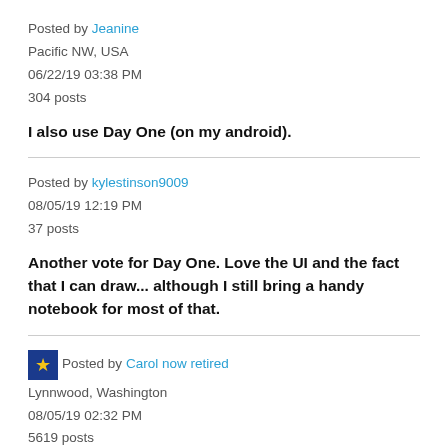Posted by Jeanine
Pacific NW, USA
06/22/19 03:38 PM
304 posts
I also use Day One (on my android).
Posted by kylestinson9009
08/05/19 12:19 PM
37 posts
Another vote for Day One. Love the UI and the fact that I can draw... although I still bring a handy notebook for most of that.
Posted by Carol now retired
Lynnwood, Washington
08/05/19 02:32 PM
5619 posts
I am currently experimenting with Polarsteps and like it so far